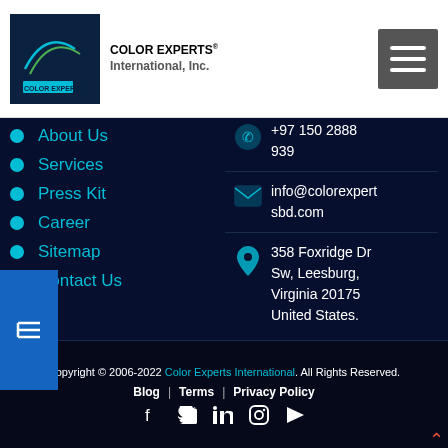Color Experts International, Inc.
About Us
Services
Press Kit
Career
Sitemap
Contact Us
+97 150 2888 939
info@colorexpertsbd.com
358 Foxridge Dr Sw, Leesburg, Virginia 20175 United States.
Copyright © 2006-2022 Color Experts International. All Rights Reserved. | Blog | Terms | Privacy Policy